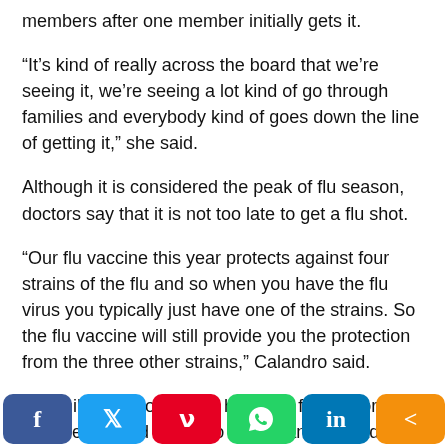members after one member initially gets it.
“It’s kind of really across the board that we’re seeing it, we’re seeing a lot kind of go through families and everybody kind of goes down the line of getting it,” she said.
Although it is considered the peak of flu season, doctors say that it is not too late to get a flu shot.
“Our flu vaccine this year protects against four strains of the flu and so when you have the flu virus you typically just have one of the strains. So the flu vaccine will still provide you the protection from the three other strains,” Calandro said.
For children who already have the flu, doctors say that they should not go to school and instead get plenty of rest along with drinking plenty of fluids.
[Figure (infographic): Social media sharing buttons: Facebook (blue), Twitter (light blue), Pinterest (red), WhatsApp (green), LinkedIn (dark blue), Share (orange)]